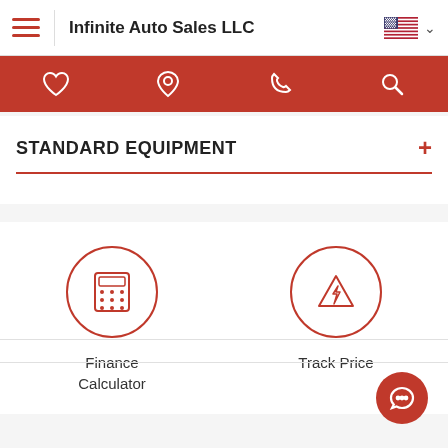Infinite Auto Sales LLC
[Figure (screenshot): Red navigation icon bar with heart, location pin, phone, and search icons on red background]
STANDARD EQUIPMENT
[Figure (infographic): Finance Calculator icon — circle with calculator grid inside, red outline]
Finance Calculator
[Figure (infographic): Track Price icon — circle with warning triangle containing lightning bolt, red outline]
Track Price